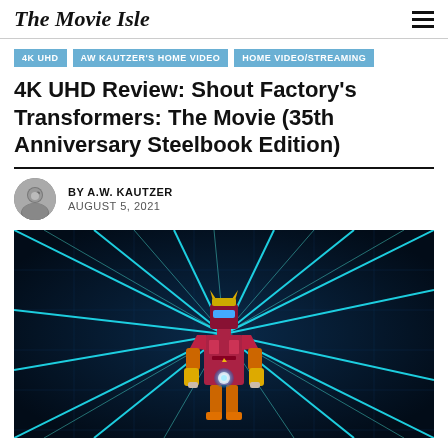The Movie Isle
4K UHD
AW KAUTZER'S HOME VIDEO
HOME VIDEO/STREAMING
4K UHD Review: Shout Factory's Transformers: The Movie (35th Anniversary Steelbook Edition)
BY A.W. KAUTZER
AUGUST 5, 2021
[Figure (illustration): Animated illustration of a Transformer robot (Rodimus Prime / Hot Rod) standing in a heroic pose with cyan energy rays emanating outward on a dark blue background, holding a glowing orb at chest level.]